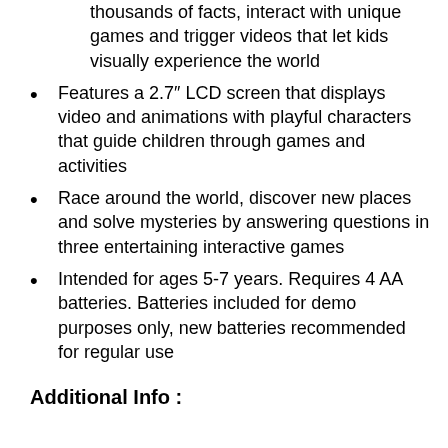thousands of facts, interact with unique games and trigger videos that let kids visually experience the world
Features a 2.7″ LCD screen that displays video and animations with playful characters that guide children through games and activities
Race around the world, discover new places and solve mysteries by answering questions in three entertaining interactive games
Intended for ages 5-7 years. Requires 4 AA batteries. Batteries included for demo purposes only, new batteries recommended for regular use
Additional Info :